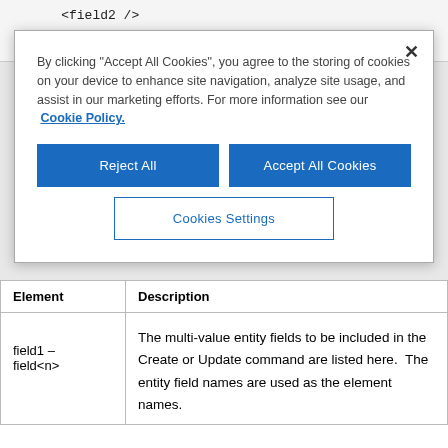<field2 />
    <fieldn />
</multivalueproperty>
[Figure (screenshot): Cookie consent modal dialog with 'Reject All', 'Accept All Cookies', and 'Cookies Settings' buttons]
| Element | Description |
| --- | --- |
| field1 – field<n> | The multi-value entity fields to be included in the Create or Update command are listed here.  The entity field names are used as the element names. |